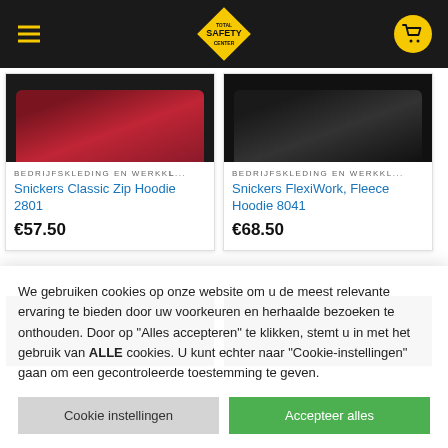Total Safety Center
[Figure (screenshot): Product card: Snickers Classic Zip Hoodie 2801, category BEDRIJFSKLEDING EN WERKKL..., price €57.50, with red hoodie image]
[Figure (screenshot): Product card: Snickers FlexiWork, Fleece Hoodie 8041, category BEDRIJFSKLEDING EN WERKKL..., price €68.50, with black hoodie image]
[Figure (screenshot): Partial product card row 2 left, black product image]
[Figure (screenshot): Partial product card row 2 right, black product image]
We gebruiken cookies op onze website om u de meest relevante ervaring te bieden door uw voorkeuren en herhaalde bezoeken te onthouden. Door op "Alles accepteren" te klikken, stemt u in met het gebruik van ALLE cookies. U kunt echter naar "Cookie-instellingen" gaan om een gecontroleerde toestemming te geven.
Cookie instellingen | Accepteer alles